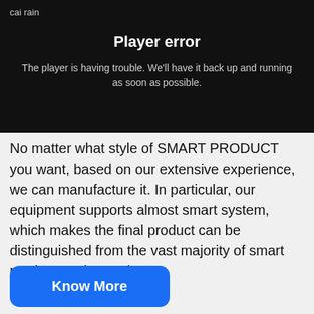[Figure (screenshot): Video player error screen with black background showing 'cai rain' label, 'Player error' title in bold white, and error message in light gray text: 'The player is having trouble. We'll have it back up and running as soon as possible.']
No matter what style of SMART PRODUCT you want, based on our extensive experience, we can manufacture it. In particular, our equipment supports almost smart system, which makes the final product can be distinguished from the vast majority of smart product on the market.
Know More